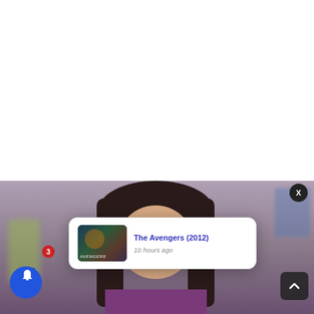[Figure (screenshot): Top white blank area of a webpage]
[Figure (photo): Screenshot of a webpage showing a woman with long dark hair, with a notification popup overlay showing 'The Avengers (2012)' posted 10 hours ago, a blue bell notification button with badge '3', a close X button, and a scroll-to-top arrow button]
The Avengers (2012)
10 hours ago